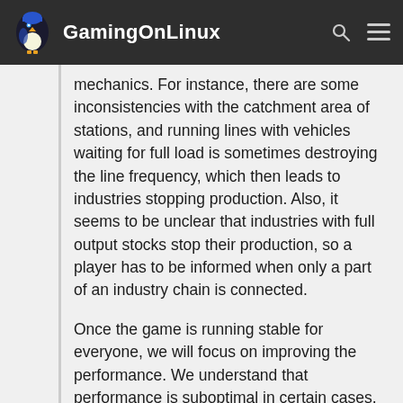GamingOnLinux
mechanics. For instance, there are some inconsistencies with the catchment area of stations, and running lines with vehicles waiting for full load is sometimes destroying the line frequency, which then leads to industries stopping production. Also, it seems to be unclear that industries with full output stocks stop their production, so a player has to be informed when only a part of an industry chain is connected.
Once the game is running stable for everyone, we will focus on improving the performance. We understand that performance is suboptimal in certain cases, heavily depending on graphics hardware, but generally in the late game. Therefore, we plan to release a major performance update to address these issues.